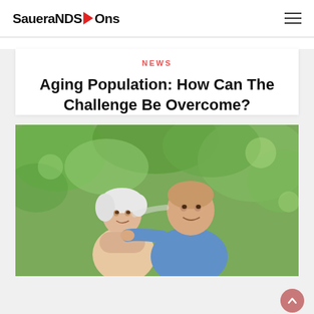SaueraNDS Ons
NEWS
Aging Population: How Can The Challenge Be Overcome?
[Figure (photo): Elderly couple smiling together outdoors with green foliage in the background. An older woman with white hair leans her head against an older man in a blue shirt who has his arm around her.]